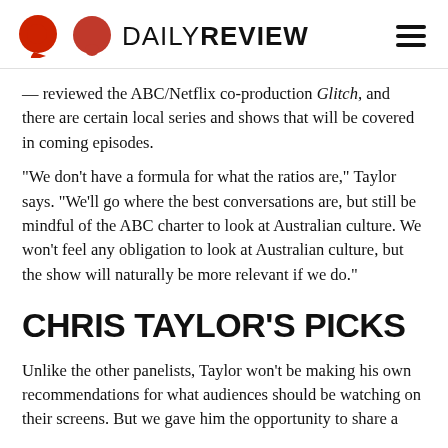DAILY REVIEW
— reviewed the ABC/Netflix co-production Glitch, and there are certain local series and shows that will be covered in coming episodes.
“We don’t have a formula for what the ratios are,” Taylor says. “We’ll go where the best conversations are, but still be mindful of the ABC charter to look at Australian culture. We won’t feel any obligation to look at Australian culture, but the show will naturally be more relevant if we do.”
CHRIS TAYLOR’S PICKS
Unlike the other panelists, Taylor won’t be making his own recommendations for what audiences should be watching on their screens. But we gave him the opportunity to share a